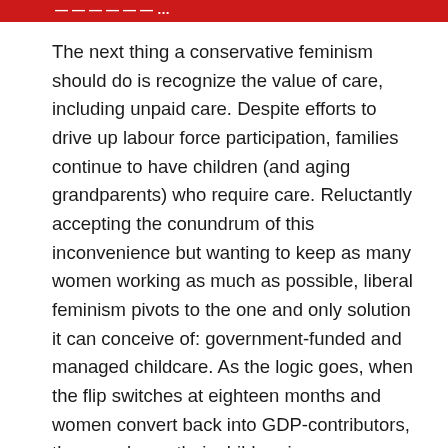...
The next thing a conservative feminism should do is recognize the value of care, including unpaid care. Despite efforts to drive up labour force participation, families continue to have children (and aging grandparents) who require care. Reluctantly accepting the conundrum of this inconvenience but wanting to keep as many women working as much as possible, liberal feminism pivots to the one and only solution it can conceive of: government-funded and managed childcare. As the logic goes, when the flip switches at eighteen months and women convert back into GDP-contributors, they can leave their children in a government-run childcare centre and go back to work full time. This is particularly convenient for white collar professional women who